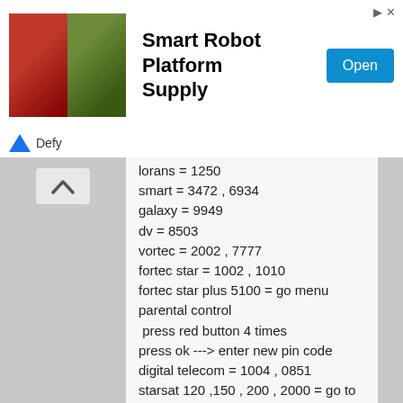[Figure (illustration): Advertisement banner for Smart Robot Platform Supply by Defy, showing two robot images, an Open button, and skip arrows.]
lorans = 1250
smart = 3472 , 6934
galaxy = 9949
dv = 8503
vortec = 2002 , 7777
fortec star = 1002 , 1010
fortec star plus 5100 = go menu
parental control
 press red button 4 times
press ok ---> enter new pin code
digital telecom = 1004 , 0851
starsat 120 ,150 , 200 , 2000 = go to
stb setting and enter 1234
starsat = go to menu --> stb --> enter
9876 to reset to 0000
e-metabox 1 ,2 = 1004
kaon = from left to right press red , green
 blue and yellow buttons